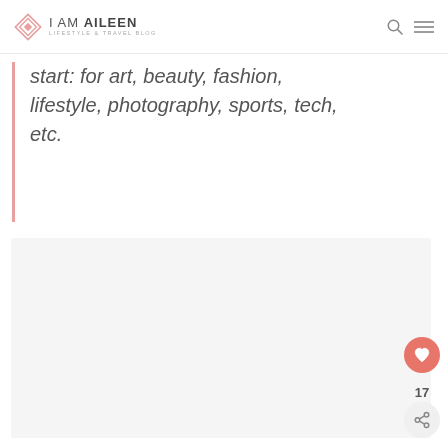i AM AiLEEN — LIFESTYLE & TRAVEL BLOG
start: for art, beauty, fashion, lifestyle, photography, sports, tech, etc.
[Figure (photo): Light gray placeholder image area below the blockquote text]